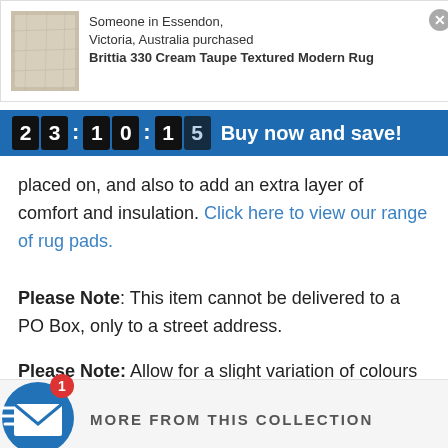[Figure (screenshot): Product notification popup showing a cream taupe rug thumbnail, text 'Someone in Essendon, Victoria, Australia purchased Brittia 330 Cream Taupe Textured Modern Rug', and a close button]
[Figure (infographic): Blue countdown timer bar showing '23:10:15' with 'Buy now and save!' text]
placed on, and also to add an extra layer of comfort and insulation. Click here to view our range of rug pads.
Please Note: This item cannot be delivered to a PO Box, only to a street address.
Please Note: Allow for a slight variation of colours depending on monitor settings.
[Figure (infographic): Blue circular email icon with red badge showing '1' and 'MORE FROM THIS COLLECTION' label]
MORE FROM THIS COLLECTION